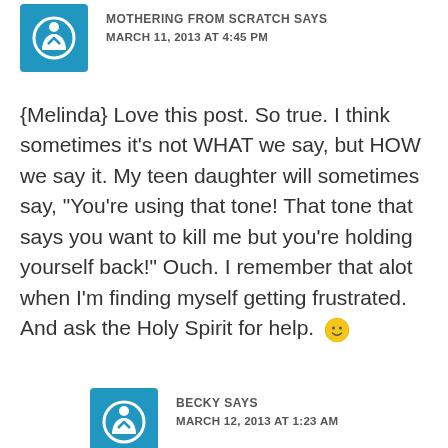MOTHERING FROM SCRATCH SAYS
MARCH 11, 2013 AT 4:45 PM
{Melinda} Love this post. So true. I think sometimes it’s not WHAT we say, but HOW we say it. My teen daughter will sometimes say, “You’re using that tone! That tone that says you want to kill me but you’re holding yourself back!” Ouch. I remember that alot when I’m finding myself getting frustrated. And ask the Holy Spirit for help. 🙂
BECKY SAYS
MARCH 12, 2013 AT 1:23 AM